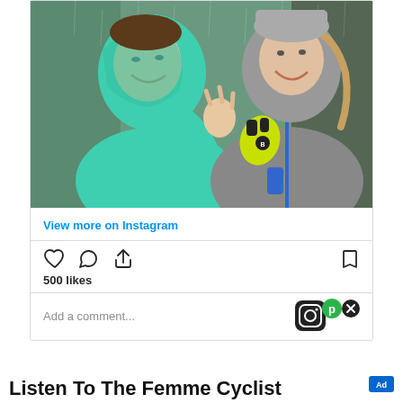[Figure (photo): Two women laughing outdoors in the rain — one wearing a teal/mint rain jacket with hood up, the other in a gray hoodie with a yellow-green cycling glove and blue accents.]
View more on Instagram
[Figure (infographic): Instagram post action icons: heart (like), speech bubble (comment), share arrow, and bookmark. Shows 500 likes. Comment input field with Instagram logo badge and close button.]
500 likes
Add a comment...
Listen To The Femme Cyclist